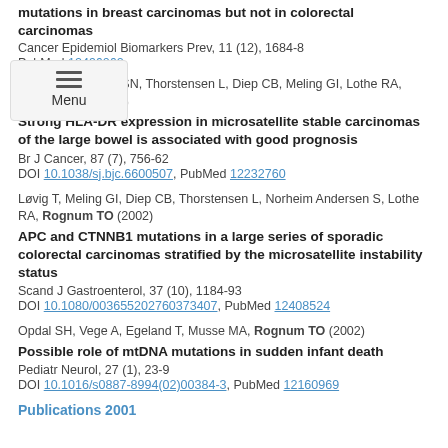mutations in breast carcinomas but not in colorectal carcinomas
Cancer Epidemiol Biomarkers Prev, 11 (12), 1684-8
PubMed 12496062
Løvig T, Andersen SN, Thorstensen L, Diep CB, Meling GI, Lothe RA, Rognum TO (2002)
Strong HLA-DR expression in microsatellite stable carcinomas of the large bowel is associated with good prognosis
Br J Cancer, 87 (7), 756-62
DOI 10.1038/sj.bjc.6600507, PubMed 12232760
Løvig T, Meling GI, Diep CB, Thorstensen L, Norheim Andersen S, Lothe RA, Rognum TO (2002)
APC and CTNNB1 mutations in a large series of sporadic colorectal carcinomas stratified by the microsatellite instability status
Scand J Gastroenterol, 37 (10), 1184-93
DOI 10.1080/003655202760373407, PubMed 12408524
Opdal SH, Vege A, Egeland T, Musse MA, Rognum TO (2002)
Possible role of mtDNA mutations in sudden infant death
Pediatr Neurol, 27 (1), 23-9
DOI 10.1016/s0887-8994(02)00384-3, PubMed 12160969
Publications 2001